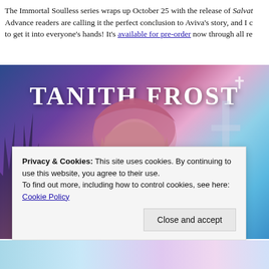The Immortal Soulless series wraps up October 25 with the release of Salvat... Advance readers are calling it the perfect conclusion to Aviva's story, and I c... to get it into everyone's hands! It's available for pre-order now through all re...
[Figure (illustration): Book cover for Tanith Frost showing a young blonde woman in a pink hood against a fantasy background of blue and purple cosmic clouds with bare trees and a cross/tower silhouette. Large white text reads TANITH FROST.]
Privacy & Cookies: This site uses cookies. By continuing to use this website, you agree to their use.
To find out more, including how to control cookies, see here: Cookie Policy
Close and accept